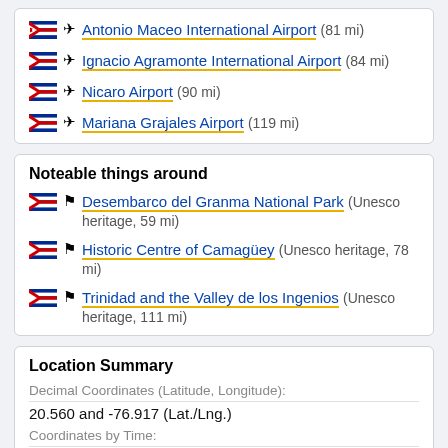Antonio Maceo International Airport (81 mi)
Ignacio Agramonte International Airport (84 mi)
Nicaro Airport (90 mi)
Mariana Grajales Airport (119 mi)
Noteable things around
Desembarco del Granma National Park (Unesco heritage, 59 mi)
Historic Centre of Camagüey (Unesco heritage, 78 mi)
Trinidad and the Valley de los Ingenios (Unesco heritage, 111 mi)
Location Summary
Decimal Coordinates (Latitude, Longitude):
20.560 and -76.917 (Lat./Lng.)
Coordinates by Time:
N 20° 33' 34'' and W -76° 55' 0''